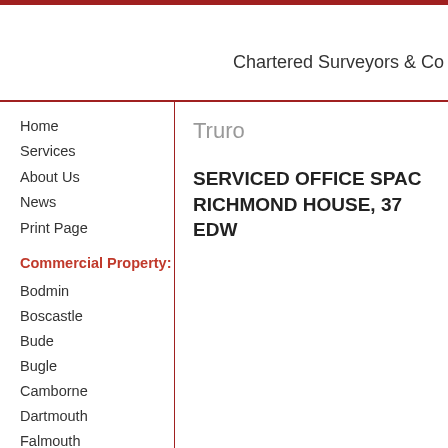Chartered Surveyors & Co
Home
Services
About Us
News
Print Page
Commercial Property:
Bodmin
Boscastle
Bude
Bugle
Camborne
Dartmouth
Falmouth
Fowey
Hayle
Helston
Launceston
Truro
SERVICED OFFICE SPAC RICHMOND HOUSE, 37 EDW